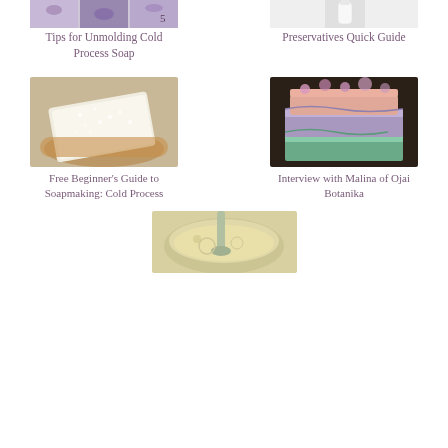[Figure (photo): Lavender soap bars in a grid, purple tones, partial view at top]
5
[Figure (photo): White bottle/container with minimalist background]
Tips for Unmolding Cold Process Soap
Preservatives Quick Guide
[Figure (photo): White translucent soap bar with crystals/salt on a wooden plate]
[Figure (photo): Colorful layered soap bars stacked together in green, purple, pink tones]
Free Beginner's Guide to Soapmaking: Cold Process
Interview with Malina of Ojai Botanika
[Figure (photo): Yellow/cream soap batter being mixed in a bowl with a stick blender, partial view at bottom]